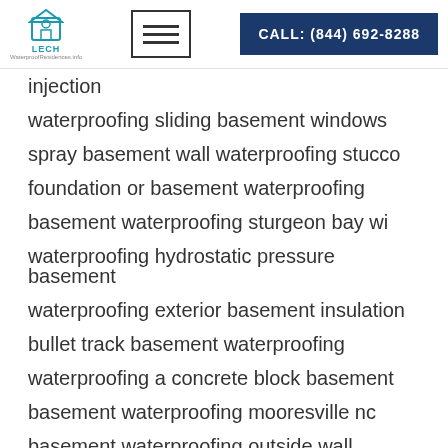LECH | CALL: (844) 692-8288
injection
waterproofing sliding basement windows
spray basement wall waterproofing stucco
foundation or basement waterproofing
basement waterproofing sturgeon bay wi
waterproofing hydrostatic pressure basement
waterproofing exterior basement insulation
bullet track basement waterproofing
waterproofing a concrete block basement
basement waterproofing mooresville nc
basement waterproofing outside wall
home basement waterproofing peoria illinois
basement waterproofing acworth georgia
basement waterproofing augusta maine
highest rated basement waterproofing companies in